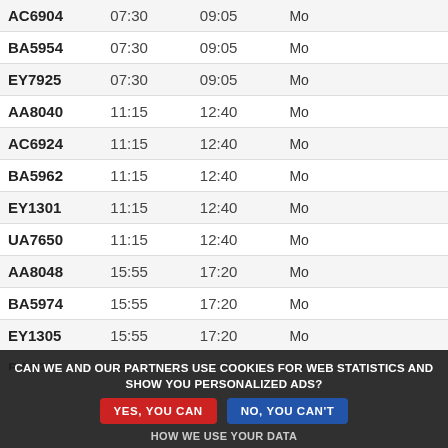| Flight | Dep | Arr | Days |
| --- | --- | --- | --- |
| AC6904 | 07:30 | 09:05 | Mo |
| BA5954 | 07:30 | 09:05 | Mo |
| EY7925 | 07:30 | 09:05 | Mo |
| AA8040 | 11:15 | 12:40 | Mo |
| AC6924 | 11:15 | 12:40 | Mo |
| BA5962 | 11:15 | 12:40 | Mo |
| EY1301 | 11:15 | 12:40 | Mo |
| UA7650 | 11:15 | 12:40 | Mo |
| AA8048 | 15:55 | 17:20 | Mo |
| BA5974 | 15:55 | 17:20 | Mo |
| EY1305 | 15:55 | 17:20 | Mo |
| BA823 | 19:30 | 20:50 | Mo, Tu, We, Th, Fr, Sa |
| EI180 | 19:35 | 20:55 | Mo |
| EI160 | 12:30 | 13:55 | Mo, Tu, We, Th, Fr, Sa |
| AA6767 | 09:15 | 10:50 | Mo, Tu, We, Th, Fr |
| EI8333 | 09:15 | 10:50 | Mo, Tu, We, Th, Fr |
| AA8038 | 12:30 | 13:55 | Tu, We, Th |
CAN WE AND OUR PARTNERS USE COOKIES FOR WEB STATISTICS AND SHOW YOU PERSONALIZED ADS? YES, YOU CAN   NO, YOU CAN'T   HOW WE USE YOUR DATA